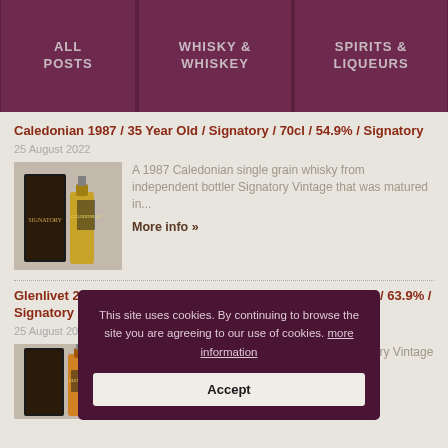ALL POSTS | WHISKY & WHISKEY | SPIRITS & LIQUEURS
Caledonian 1987 / 35 Year Old / Signatory / 70cl / 54.9% / Signatory
25 August 2022
[Figure (photo): Bottle of Caledonian 1987 whisky with box]
A 1987 Caledonian single grain whisky from independent bottler Signatory Vintage that was matured in...
More info »
Glenlivet 2006 / 15 Year Old / Sherry Cask / Signatory / 70cl / 63.9% / Signatory
25 August 2022
[Figure (photo): Bottle of Glenlivet 2006 whisky with box]
A 2006 Glenlivet... independent bottler Signatory Vintage that was matured i...
This site uses cookies. By continuing to browse the site you are agreeing to our use of cookies. more information
Accept